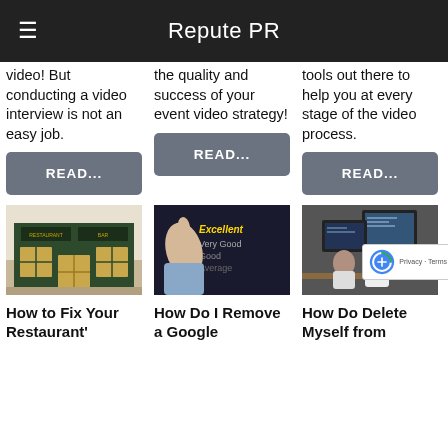Repute PR
video! But conducting a video interview is not an easy job.
the quality and success of your event video strategy!
tools out there to help you at every stage of the video process.
READ...
READ...
READ...
[Figure (photo): Restaurant and bar exterior with green facade]
[Figure (photo): Hand pointing at rating scale showing Excellent, Very Good, Good, Average]
[Figure (photo): Two people working at computers with multiple monitors]
How to Fix Your Restaurant'
How Do I Remove a Google
How Do Delete Myself from